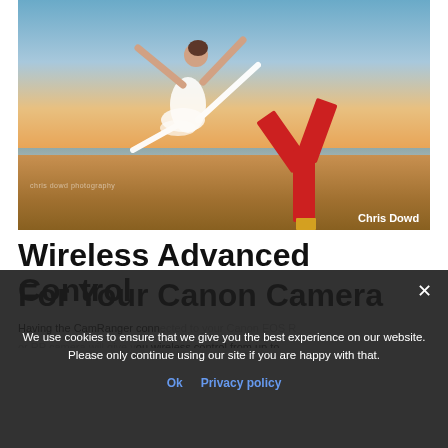[Figure (photo): A dancer leaping in the air on a beach at sunset wearing a white dress, with a red sculptural artwork in the background. Photo credit: Chris Dowd. Watermark: chris dowd photography.]
Wireless Advanced Control For Your Canon Camera
We use cookies to ensure that we give you the best experience on our website. Please only continue using our site if you are happy with that.
Having the CamRanger connected to your Canon EOS R or RP camera will give you wireless control from up to 500 feet away. You'll be able to adjust exposure settings